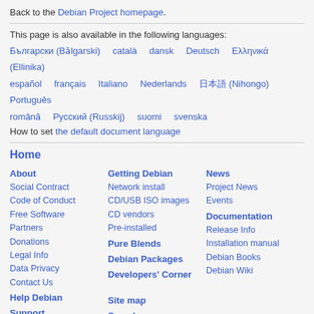Back to the Debian Project homepage.
This page is also available in the following languages:
Български (Bǎlgarski)  català  dansk  Deutsch  Ελληνικά (Ellinika)  español  français  Italiano  Nederlands  日本語 (Nihongo)  Português  română  Русский (Russkij)  suomi  svenska
How to set the default document language
Home
About  Social Contract  Code of Conduct  Free Software  Partners  Donations  Legal Info  Data Privacy  Contact Us  Help Debian  Support  Debian International
Getting Debian  Network install  CD/USB ISO images  CD vendors  Pre-installed  Pure Blends  Debian Packages  Developers' Corner  Site map  Search
News  Project News  Events  Documentation  Release Info  Installation manual  Debian Books  Debian Wiki